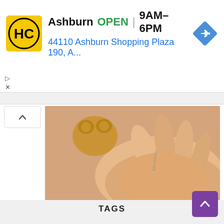[Figure (screenshot): Ad banner for Haircut Superstore (HC logo in yellow circle) showing Ashburn location, OPEN, 9AM-6PM hours, and address 44110 Ashburn Shopping Plaza 190, A... with blue navigation arrow icon]
[Figure (photo): A hand holding a small crocheted bear amigurumi figure, with a watermark text visible on the hand reading 'lukoshkino']
Little bear free amigurumi pattern
TAGS
[Figure (other): Purple back-to-top arrow button in bottom right corner]